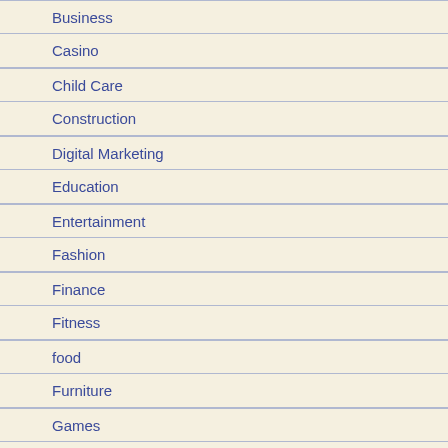Business
Casino
Child Care
Construction
Digital Marketing
Education
Entertainment
Fashion
Finance
Fitness
food
Furniture
Games